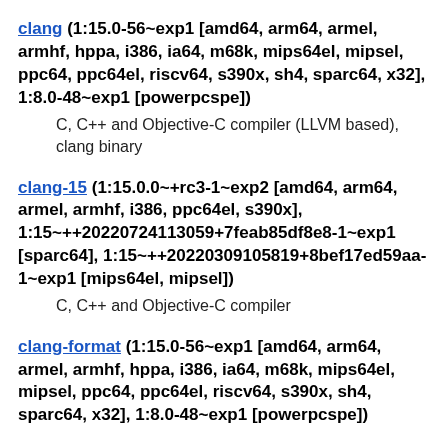clang (1:15.0-56~exp1 [amd64, arm64, armel, armhf, hppa, i386, ia64, m68k, mips64el, mipsel, ppc64, ppc64el, riscv64, s390x, sh4, sparc64, x32], 1:8.0-48~exp1 [powerpcspe])
C, C++ and Objective-C compiler (LLVM based), clang binary
clang-15 (1:15.0.0~+rc3-1~exp2 [amd64, arm64, armel, armhf, i386, ppc64el, s390x], 1:15~++20220724113059+7feab85df8e8-1~exp1 [sparc64], 1:15~++20220309105819+8bef17ed59aa-1~exp1 [mips64el, mipsel])
C, C++ and Objective-C compiler
clang-format (1:15.0-56~exp1 [amd64, arm64, armel, armhf, hppa, i386, ia64, m68k, mips64el, mipsel, ppc64, ppc64el, riscv64, s390x, sh4, sparc64, x32], 1:8.0-48~exp1 [powerpcspe])